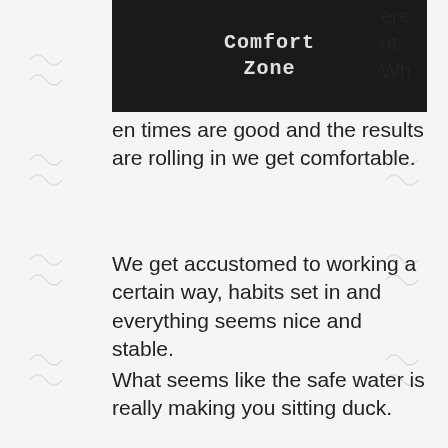[Figure (photo): Chalkboard image showing 'Comfort Zone' text written in white chalk on a dark blackboard]
ere nt. When times are good and the results are rolling in we get comfortable.
We get accustomed to working a certain way, habits set in and everything seems nice and stable.
What seems like the safe water is really making you sitting duck.
I've said it before in previous blogs that you have to be prepared to change – actually I mean transform.